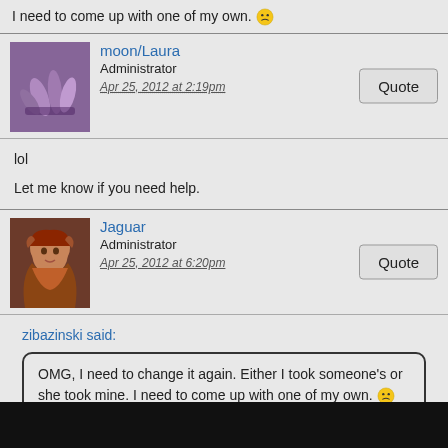I need to come up with one of my own. 😕
moon/Laura
Administrator
Apr 25, 2012 at 2:19pm
lol

Let me know if you need help.
Jaguar
Administrator
Apr 25, 2012 at 6:20pm
zibazinski said:
OMG, I need to change it again. Either I took someone's or she took mine. I need to come up with one of my own. 😕
This one I couldn't figure out how to post the code to get an avatar.